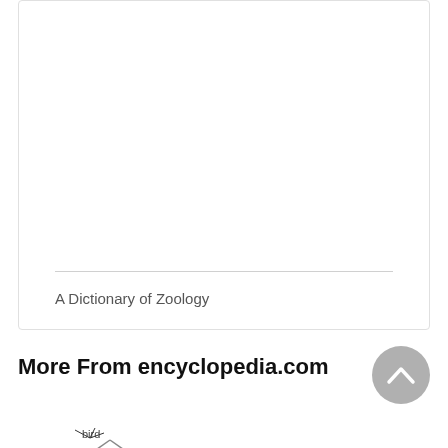A Dictionary of Zoology
More From encyclopedia.com
[Figure (illustration): Partial thumbnail of a zoology diagram showing branching tree-like lines, partially cropped at bottom of page]
[Figure (illustration): Partial thumbnail showing large light text reading ORDER, partially cropped at bottom of page]